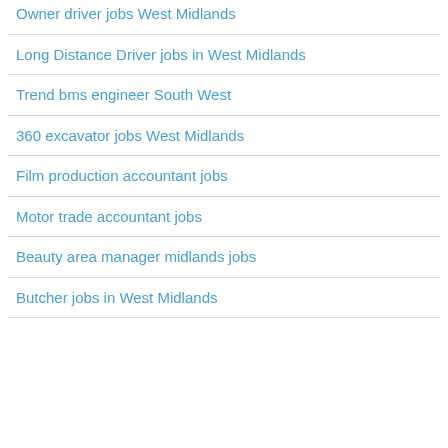Owner driver jobs West Midlands
Long Distance Driver jobs in West Midlands
Trend bms engineer South West
360 excavator jobs West Midlands
Film production accountant jobs
Motor trade accountant jobs
Beauty area manager midlands jobs
Butcher jobs in West Midlands